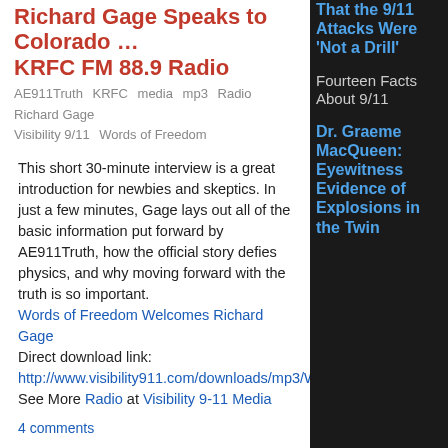Richard Gage Speaks to Colorado … KRFC FM 88.9 Radio
AE911Truth   KRFC   media   mp3   Radio   Richard Gage   Visibility 9/11   Words of Freedom
This short 30-minute interview is a great introduction for newbies and skeptics. In just a few minutes, Gage lays out all of the basic information put forward by AE911Truth, how the official story defies physics, and why moving forward with the truth is so important.
Words of Freedom Welcomes Richard Gage
Direct download link: http://www.visibility911.com/downloads/mp3/WoF_02
See More Radio at Visibility 9-11 Media
4 comments
TomT  wed, 12/03/2008 - 11:1
Texas Engineer Gets SAVAGE on 9/11 Truth
AE911Truth   engineer   Michael Savage   Radio   Texas
These "Architects and Engineers for 9/11 Truth" are relentless in the effort to reveal the truth about 9/11. Derek, an engineer from Texas, actively engages Michael Savage about 9/11 Truth. Read more…
That the 9/11 Attacks Were 'Not a Drill'
Fourteen Facts About 9/11
Dr. Graeme MacQueen: Eyewitness Evidence of Explosions in the Twin